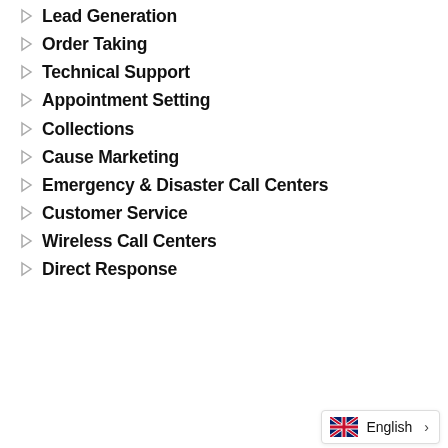Lead Generation
Order Taking
Technical Support
Appointment Setting
Collections
Cause Marketing
Emergency & Disaster Call Centers
Customer Service
Wireless Call Centers
Direct Response
English